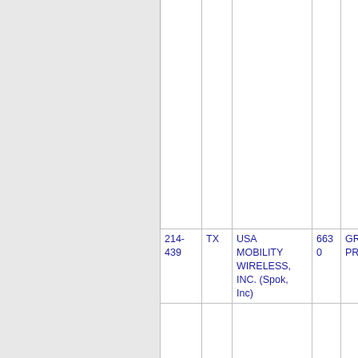|  | TX | Licensee | Code | Status |
| --- | --- | --- | --- | --- |
| 214-439 | TX | USA MOBILITY WIRELESS, INC. (Spok, Inc) | 6630 | GRANDPR... |
| 214-510 | TX | USA MOBILITY WIRELESS, INC. (Spok, | 6630 | GRANDPR... |